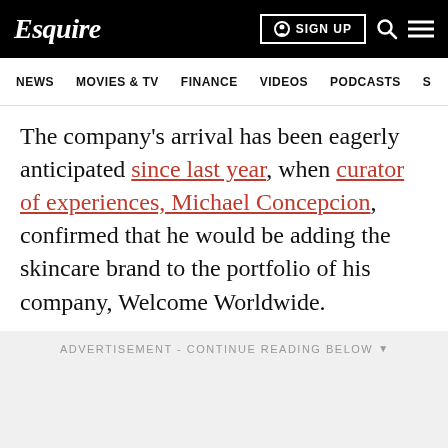Esquire — SIGN UP | NEWS | MOVIES & TV | FINANCE | VIDEOS | PODCASTS
The company's arrival has been eagerly anticipated since last year, when curator of experiences, Michael Concepcion, confirmed that he would be adding the skincare brand to the portfolio of his company, Welcome Worldwide.
ADVERTISEMENT - CONTINUE READING BELOW